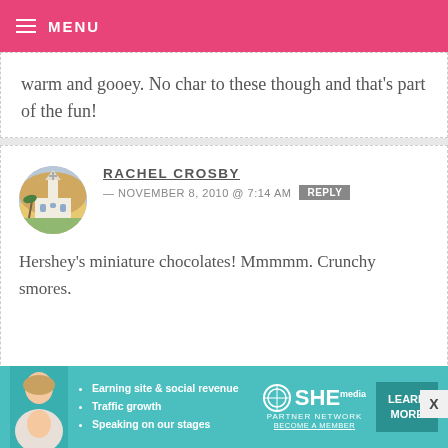MENU
warm and gooey. No char to these though and that's part of the fun!
RACHEL CROSBY — NOVEMBER 8, 2010 @ 7:14 AM  REPLY
Hershey's miniature chocolates! Mmmmm. Crunchy smores.
KATRINA — NOVEMBER 8, 2010 @ 7:12 AM  REPLY
[Figure (infographic): SHE Partner Network advertisement banner with person photo, bullet points: Earning site & social revenue, Traffic growth, Speaking on our stages. SHE PARTNER NETWORK BECOME A MEMBER. LEARN MORE button.]